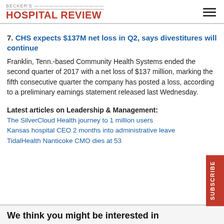BECKER'S HOSPITAL REVIEW
7. CHS expects $137M net loss in Q2, says divestitures will continue
Franklin, Tenn.-based Community Health Systems ended the second quarter of 2017 with a net loss of $137 million, marking the fifth consecutive quarter the company has posted a loss, according to a preliminary earnings statement released last Wednesday.
Latest articles on Leadership & Management:
The SilverCloud Health journey to 1 million users
Kansas hospital CEO 2 months into administrative leave
TidalHealth Nanticoke CMO dies at 53
We think you might be interested in